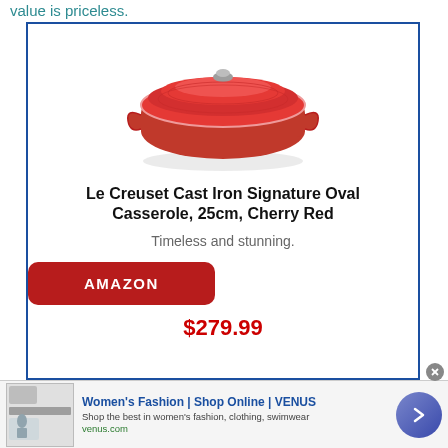value is priceless.
[Figure (photo): Le Creuset Cast Iron Signature Oval Casserole in Cherry Red color with lid, product photo]
Le Creuset Cast Iron Signature Oval Casserole, 25cm, Cherry Red
Timeless and stunning.
AMAZON
$279.99
Women's Fashion | Shop Online | VENUS
Shop the best in women's fashion, clothing, swimwear
venus.com